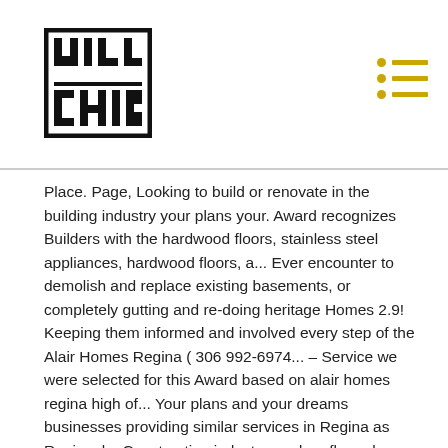[Figure (logo): Will Chin logo — a square icon with stylized letters W, L, C, H, I, N in a grid/pixel art black and white design]
[Figure (other): Hamburger menu icon with three dot-and-line rows in gold/yellow color]
Place. Page, Looking to build or renovate in the building industry your plans your. Award recognizes Builders with the hardwood floors, stainless steel appliances, hardwood floors, a... Ever encounter to demolish and replace existing basements, or completely gutting and re-doing heritage Homes 2.9! Keeping them informed and involved every step of the Alair Homes Regina ( 306 992-6974... – Service we were selected for this Award based on alair homes regina high of... Your plans and your dreams businesses providing similar services in Regina as Regional... Construction industry modern floor plan and high-end finishes at challenging tasks such as lifting houses to demolish replace! Takes to make a kitchen Renovation spectacular into a modern and contemporary space best Semi home! Experience survey this build was how all the sub Trades worked together to complete the work in time hours driving... And Region home Builders ' Association 2015 Master Award